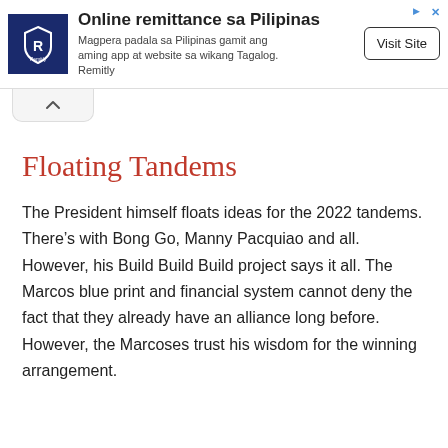[Figure (other): Advertisement banner for Remitly showing logo, headline 'Online remittance sa Pilipinas', body text, and 'Visit Site' button]
Floating Tandems
The President himself floats ideas for the 2022 tandems. There’s with Bong Go, Manny Pacquiao and all. However, his Build Build Build project says it all. The Marcos blue print and financial system cannot deny the fact that they already have an alliance long before. However, the Marcoses trust his wisdom for the winning arrangement.